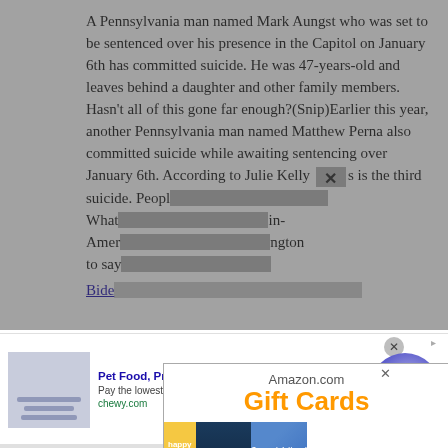A Pennsylvania man named Mark Aungst who was set to be sentenced over his presence in the Capitol on January 6th has committed suicide. He was 47-years-old and leaves behind a daughter and other family members. Hasn't all of this gone far enough?(Snip)Earlier this year, another Pennsylvania man named Matthew Perna also committed suicide while awaiting sentencing over January 6th. According to Julie Kelly this is the third suicide. People ... What ... in-Amer ... ngton to say ...
[Figure (screenshot): Amazon.com Gift Cards advertisement popup overlaying article text, showing three gift card designs: happy birthday, Amazon Kindle, and Congratulations.]
Bide...
[Figure (screenshot): Bottom banner advertisement for Chewy.com: Pet Food, Products, Supplies at Low Prices - Pay the lowest prices on pet supplies at Chewy.com. chewy.com. With a blue play button circle on the right.]